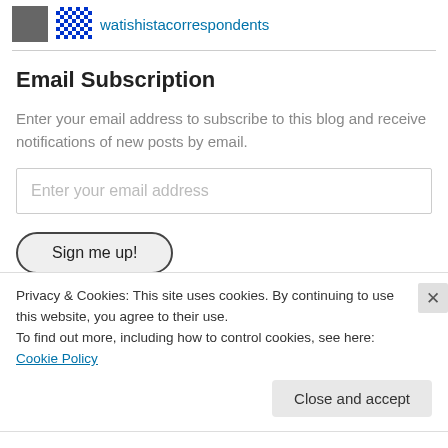[Figure (logo): User avatar: small photo and blue diamond pattern icon next to username]
watishistacorrespondents
Email Subscription
Enter your email address to subscribe to this blog and receive notifications of new posts by email.
Enter your email address
Sign me up!
Privacy & Cookies: This site uses cookies. By continuing to use this website, you agree to their use.
To find out more, including how to control cookies, see here: Cookie Policy
Close and accept